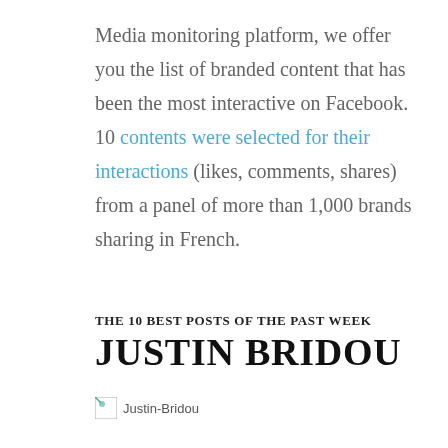Media monitoring platform, we offer you the list of branded content that has been the most interactive on Facebook. 10 contents were selected for their interactions (likes, comments, shares) from a panel of more than 1,000 brands sharing in French.
THE 10 BEST POSTS OF THE PAST WEEK
JUSTIN BRIDOU
[Figure (photo): Justin-Bridou image]